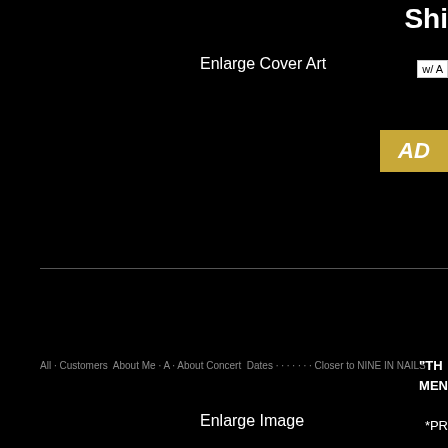Enlarge Cover Art
Shi
w/ A
AD
"TH MEN
*PR
2 Co
2 Co
Shi
w/ A
T-S
Sm
AD
Enlarge Image